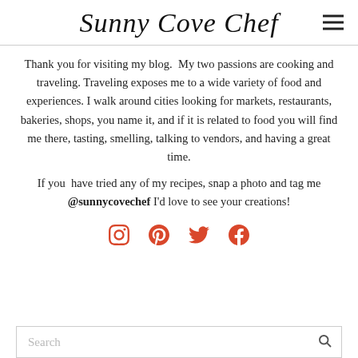Sunny Cove Chef
Thank you for visiting my blog.  My two passions are cooking and traveling. Traveling exposes me to a wide variety of food and experiences. I walk around cities looking for markets, restaurants, bakeries, shops, you name it, and if it is related to food you will find me there, tasting, smelling, talking to vendors, and having a great time.
If you  have tried any of my recipes, snap a photo and tag me @sunnycovechef I'd love to see your creations!
[Figure (infographic): Social media icons: Instagram, Pinterest, Twitter, Facebook in red/coral color]
[Figure (other): Search bar with placeholder text 'Search' and a magnifying glass icon]